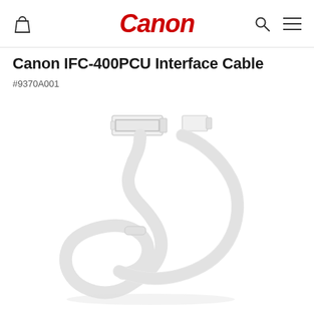Canon
Canon IFC-400PCU Interface Cable
#9370A001
[Figure (photo): White Canon IFC-400PCU USB interface cable coiled on white background, showing USB Type-A connector and micro connector ends]